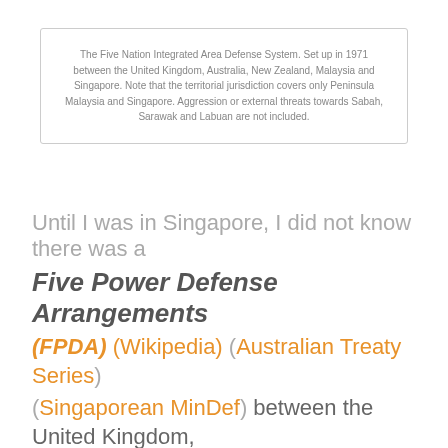The Five Nation Integrated Area Defense System. Set up in 1971 between the United Kingdom, Australia, New Zealand, Malaysia and Singapore. Note that the territorial jurisdiction covers only Peninsula Malaysia and Singapore. Aggression or external threats towards Sabah, Sarawak and Labuan are not included.
Until I was in Singapore, I did not know there was a
Five Power Defense Arrangements
(FPDA) (Wikipedia) (Australian Treaty Series) (Singaporean MinDef) between the United Kingdom, Australia, New Zealand, Malaysia and Singapore. Until I